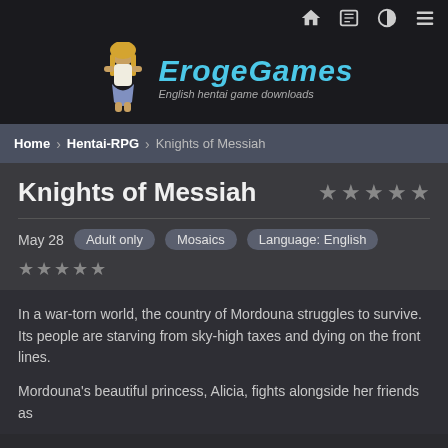ErogeGames — English hentai game downloads
Home > Hentai-RPG > Knights of Messiah
Knights of Messiah
May 28   Adult only   Mosaics   Language: English
In a war-torn world, the country of Mordouna struggles to survive. Its people are starving from sky-high taxes and dying on the front lines.
Mordouna's beautiful princess, Alicia, fights alongside her friends as